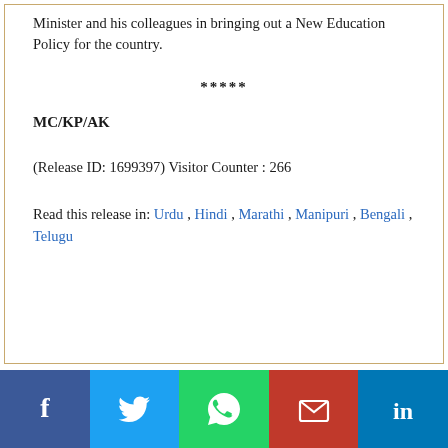Minister and his colleagues in bringing out a New Education Policy for the country.
*****
MC/KP/AK
(Release ID: 1699397) Visitor Counter : 266
Read this release in: Urdu , Hindi , Marathi , Manipuri , Bengali , Telugu
[Figure (other): Social media sharing bar with Facebook, Twitter, WhatsApp, Email, and LinkedIn icons]